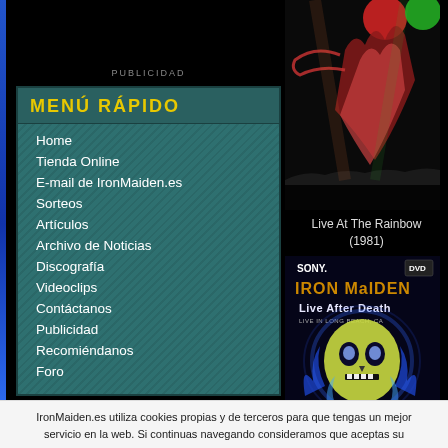PUBLICIDAD
MENÚ RÁPIDO
Home
Tienda Online
E-mail de IronMaiden.es
Sorteos
Artículos
Archivo de Noticias
Discografía
Videoclips
Contáctanos
Publicidad
Recomiéndanos
Foro
REDES SOCIALES
[Figure (photo): Iron Maiden album cover art - Live At The Rainbow, showing a figure with colorful stage lighting]
Live At The Rainbow
(1981)
[Figure (photo): Iron Maiden - Live After Death album/DVD cover with Eddie skull character, Sony logo visible]
IronMaiden.es utiliza cookies propias y de terceros para que tengas un mejor servicio en la web. Si continuas navegando consideramos que aceptas su